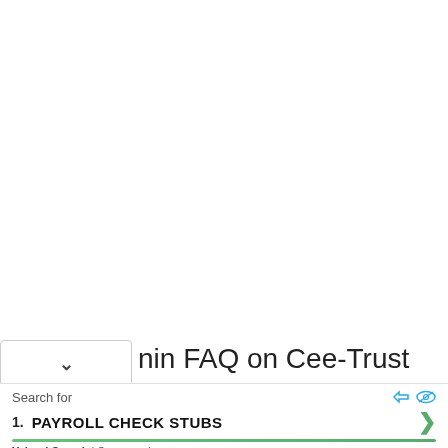nin FAQ on Cee-Trust
Search for
1. PAYROLL CHECK STUBS
Yahoo! Search | Sponsored